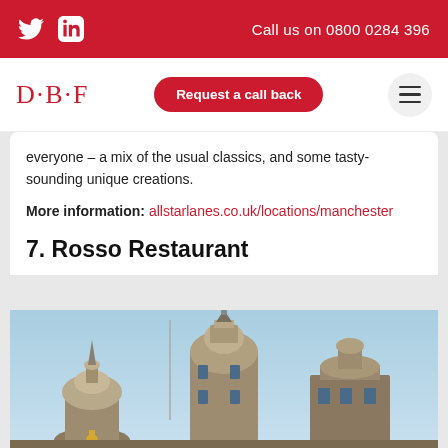Twitter  LinkedIn  |  Call us on 08000284 396
D·B·F
everyone – a mix of the usual classics, and some tasty-sounding unique creations.
More information: allstarlanes.co.uk/locations/manchester
7. Rosso Restaurant
[Figure (photo): Exterior view of a Victorian-era building with ornate dome and spire architecture against a blue sky.]